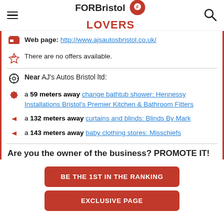FORBristol LOVERS
Web page: http://www.ajsautosbristol.co.uk/
There are no offers available.
Near AJ's Autos Bristol ltd:
a 59 meters away change bathtub shower: Hennessy Installations Bristol's Premier Kitchen & Bathroom Fitters
a 132 meters away curtains and blinds: Blinds By Mark
a 143 meters away baby clothing stores: Misschiefs
Are you the owner of the business? PROMOTE IT!
BE THE 1ST IN THE RANKING
EXCLUSIVE PAGE